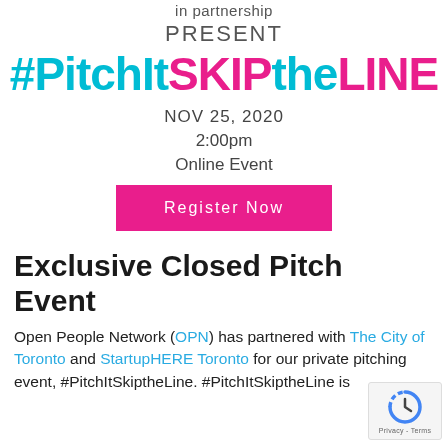in partnership
PRESENT
#PitchItSKIPtheLINE
NOV 25, 2020
2:00pm
Online Event
Register Now
Exclusive Closed Pitch Event
Open People Network (OPN) has partnered with The City of Toronto and StartupHERE Toronto for our private pitching event, #PitchItSkiptheLine. #PitchItSkiptheLine is